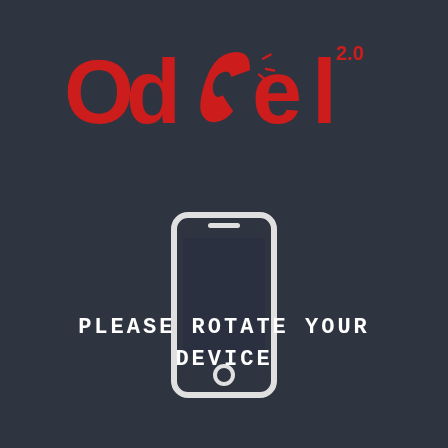[Figure (logo): OdexGal 2.0 logo with red stylized text and a red telephone handset icon in the center]
[Figure (illustration): White outline icon of a smartphone in portrait orientation with a dark screen]
PLEASE ROTATE YOUR DEVICE